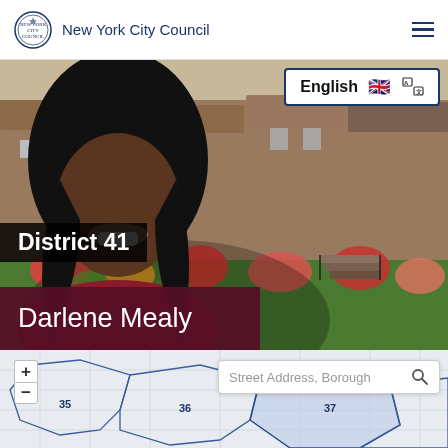New York City Council
[Figure (photo): Portrait of Darlene Mealy overlaid on a photo of a Brooklyn street with brownstone rowhouses and colorful flower gardens]
English
District 41
Darlene Mealy
[Figure (map): Interactive street map showing NYC council district boundaries, with districts labeled 35, 36, and 37 visible, and a highlighted district in the center]
Street Address, Borough